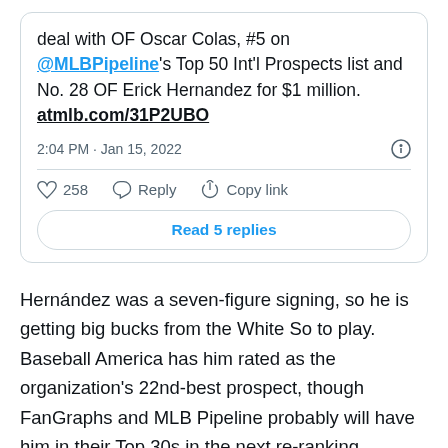deal with OF Oscar Colas, #5 on @MLBPipeline's Top 50 Int'l Prospects list and No. 28 OF Erick Hernandez for $1 million. atmlb.com/31P2UBO
2:04 PM · Jan 15, 2022
258  Reply  Copy link
Read 5 replies
Hernández was a seven-figure signing, so he is getting big bucks from the White So to play. Baseball America has him rated as the organization's 22nd-best prospect, though FanGraphs and MLB Pipeline probably will have him in their Top 30s in the next re-ranking. Hernández is a lefty bat, and projected to be in the outfield. I could list his height and weight, but he